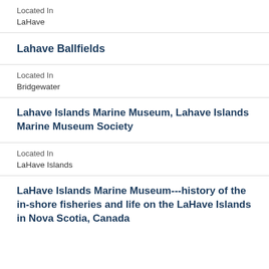Located In
LaHave
Lahave Ballfields
Located In
Bridgewater
Lahave Islands Marine Museum, Lahave Islands Marine Museum Society
Located In
LaHave Islands
LaHave Islands Marine Museum---history of the in-shore fisheries and life on the LaHave Islands in Nova Scotia, Canada